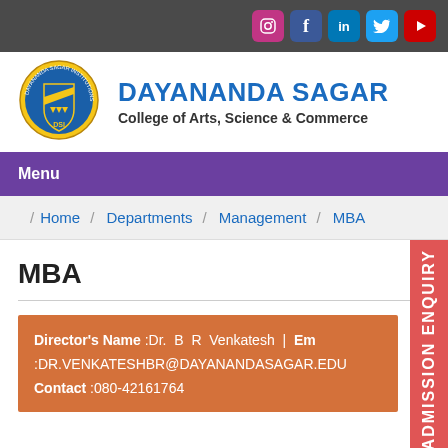[Figure (logo): Social media icons: Instagram, Facebook, LinkedIn, Twitter, YouTube in top dark bar]
[Figure (logo): Dayananda Sagar Institutions circular crest/shield logo in blue and yellow]
DAYANANDA SAGAR
College of Arts, Science & Commerce
Menu
/ Home / Departments / Management / MBA
MBA
Director's Name :Dr. B R Venkatesh | Email :DR.VENKATESHBR@DAYANANDASAGAR.EDU Contact :080-42161764